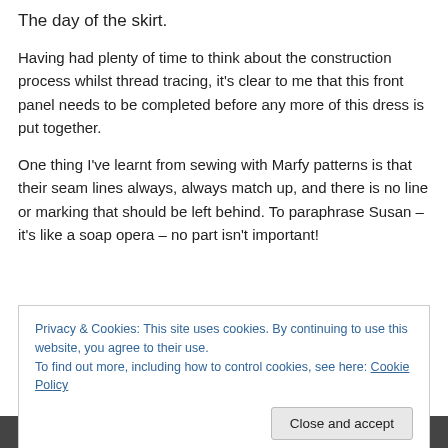The day of the skirt.
Having had plenty of time to think about the construction process whilst thread tracing, it's clear to me that this front panel needs to be completed before any more of this dress is put together.
One thing I've learnt from sewing with Marfy patterns is that their seam lines always, always match up, and there is no line or marking that should be left behind. To paraphrase Susan – it's like a soap opera – no part isn't important!
Privacy & Cookies: This site uses cookies. By continuing to use this website, you agree to their use.
To find out more, including how to control cookies, see here: Cookie Policy
[Figure (photo): Bottom strip of a photograph partially visible at the bottom of the page]